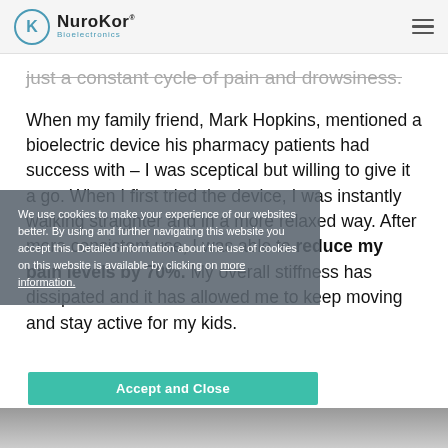NuroKor Bioelectronics
just a constant cycle of pain and drowsiness.
When my family friend, Mark Hopkins, mentioned a bioelectric device his pharmacy patients had success with – I was sceptical but willing to give it a go. When I first tried the device, I was instantly walking straighter and in a more relaxed way. After more consistent use, I was able to reduce my pain levels by 70%. My overall stiffness has dissipated and it has allowed me to keep moving and stay active for my kids.
We use cookies to make your experience of our websites better. By using and further navigating this website you accept this. Detailed information about the use of cookies on this website is available by clicking on more information.
Accept and Close